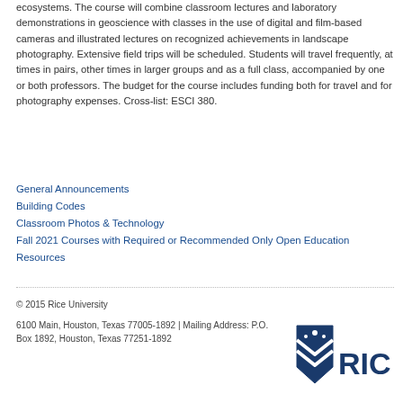ecosystems. The course will combine classroom lectures and laboratory demonstrations in geoscience with classes in the use of digital and film-based cameras and illustrated lectures on recognized achievements in landscape photography. Extensive field trips will be scheduled. Students will travel frequently, at times in pairs, other times in larger groups and as a full class, accompanied by one or both professors. The budget for the course includes funding both for travel and for photography expenses. Cross-list: ESCI 380.
General Announcements
Building Codes
Classroom Photos & Technology
Fall 2021 Courses with Required or Recommended Only Open Education Resources
© 2015 Rice University
6100 Main, Houston, Texas 77005-1892 | Mailing Address: P.O. Box 1892, Houston, Texas 77251-1892
[Figure (logo): Rice University shield logo with 'RICE' text in dark blue]